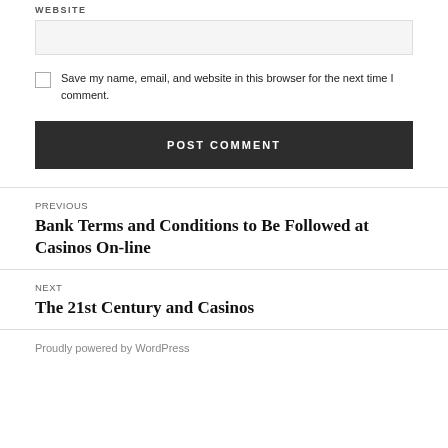WEBSITE
[Figure (other): Website text input field (empty, light gray background)]
Save my name, email, and website in this browser for the next time I comment.
POST COMMENT
PREVIOUS
Bank Terms and Conditions to Be Followed at Casinos On-line
NEXT
The 21st Century and Casinos
Proudly powered by WordPress